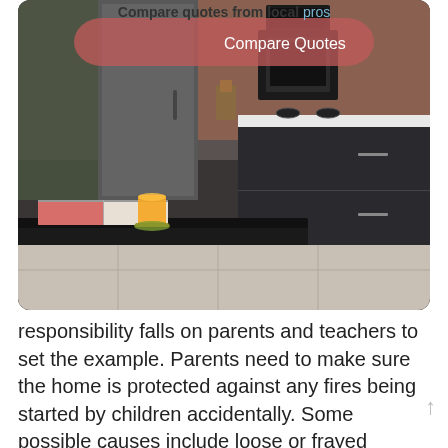[Figure (photo): Modern dark kitchen interior with island counter, glass of orange juice, open book/magazine, stainless steel appliances, with a semi-transparent pink/red rounded rectangle button overlay reading 'Compare Quotes' and header text 'Compare quotes from local pros']
responsibility falls on parents and teachers to set the example. Parents need to make sure the home is protected against any fires being started by children accidentally. Some possible causes include loose or frayed cords and plugs, overloaded outlets, overused extension cords,